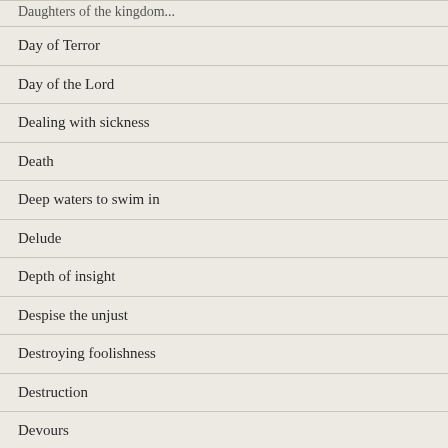Daughters of the kingdom...
Day of Terror
Day of the Lord
Dealing with sickness
Death
Deep waters to swim in
Delude
Depth of insight
Despise the unjust
Destroying foolishness
Destruction
Devours
Disaster